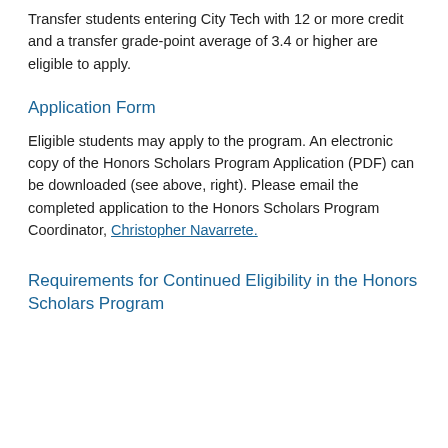Transfer students entering City Tech with 12 or more credit and a transfer grade-point average of 3.4 or higher are eligible to apply.
Application Form
Eligible students may apply to the program. An electronic copy of the Honors Scholars Program Application (PDF) can be downloaded (see above, right). Please email the completed application to the Honors Scholars Program Coordinator, Christopher Navarrete.
Requirements for Continued Eligibility in the Honors Scholars Program